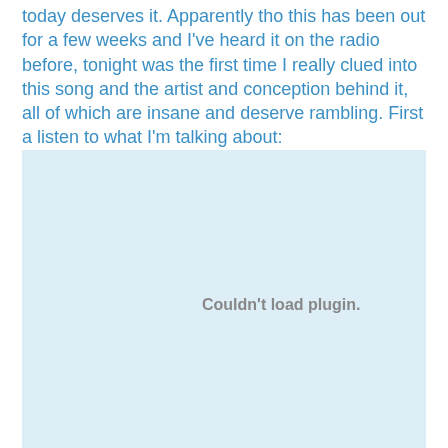today deserves it. Apparently tho this has been out for a few weeks and I've heard it on the radio before, tonight was the first time I really clued into this song and the artist and conception behind it, all of which are insane and deserve rambling. First a listen to what I'm talking about:
[Figure (other): Embedded media plugin placeholder showing 'Couldn't load plugin.']
Yep. Now, listening to this on the radio I pictured some young black female artist creating a pretty earnest, fun track about loving her hair and throwing it around in fun. There's nothing really wrong with that. I do that all the time. It's awesome. I don't use six different forms of conditioner for